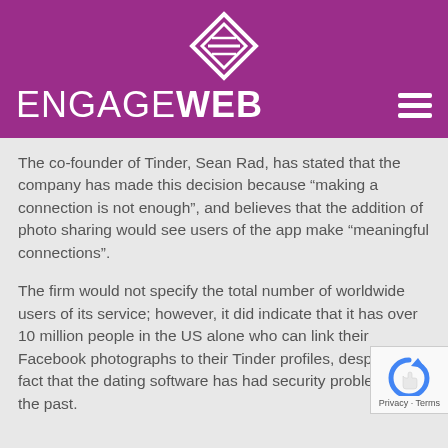ENGAGE WEB
The co-founder of Tinder, Sean Rad, has stated that the company has made this decision because “making a connection is not enough”, and believes that the addition of photo sharing would see users of the app make “meaningful connections”.
The firm would not specify the total number of worldwide users of its service; however, it did indicate that it has over 10 million people in the US alone who can link their Facebook photographs to their Tinder profiles, despite the fact that the dating software has had security problems in the past.